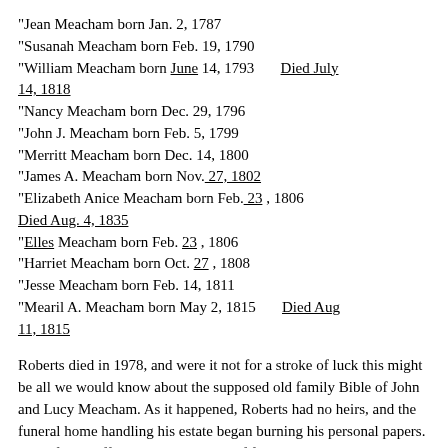"Jean Meacham born Jan. 2, 1787
"Susanah Meacham born Feb. 19, 1790
"William Meacham born June 14, 1793      Died July 14, 1818
"Nancy Meacham born Dec. 29, 1796
"John J. Meacham born Feb. 5, 1799
"Merritt Meacham born Dec. 14, 1800
"James A. Meacham born Nov. 27, 1802
"Elizabeth Anice Meacham born Feb. 23, 1806 Died Aug. 4, 1835
"Elles Meacham born Feb. 23, 1806
"Harriet Meacham born Oct. 27, 1808
"Jesse Meacham born Feb. 14, 1811
"Mearil A. Meacham born May 2, 1815      Died Aug 11, 1815
Roberts died in 1978, and were it not for a stroke of luck this might be all we would know about the supposed old family Bible of John and Lucy Meacham. As it happened, Roberts had no heirs, and the funeral home handling his estate began burning his personal papers. One of the staff noticed that a stack of files dealt with genealogy, so he set them aside and called the Midland Genealogical Society to see if anyone there was interested. Two members (one of them being Fred Reed, who related the story to me) drove out to Roberts' home at Big Spring, Texas, and took